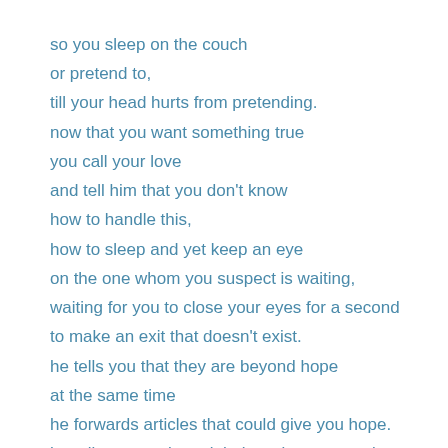so you sleep on the couch
or pretend to,
till your head hurts from pretending.
now that you want something true
you call your love
and tell him that you don't know
how to handle this,
how to sleep and yet keep an eye
on the one whom you suspect is waiting,
waiting for you to close your eyes for a second
to make an exit that doesn't exist.
he tells you that they are beyond hope
at the same time
he forwards articles that could give you hope.
he tells you to sleep tight knowing you won't.

when you wake up at the sound of tears